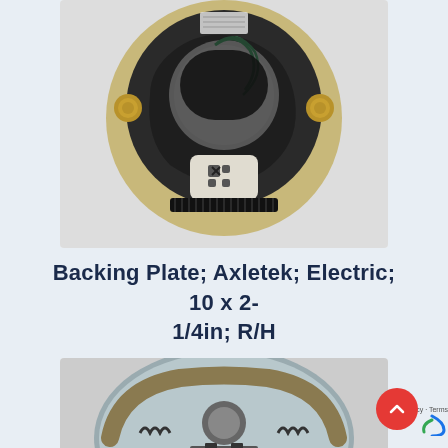[Figure (photo): Photo of a circular brake backing plate (electric, Axletek, 10x2-1/4in, R/H) showing the rear/back side with a black electromagnetic assembly, green wires, a white perforated ceramic/magnet pad, and two gold bolt heads, mounted on a tan/gold metal plate.]
Backing Plate; Axletek; Electric; 10 x 2-1/4in; R/H
[Figure (photo): Partial photo of the front side of the same brake backing plate showing brake shoes, springs, and hardware on a shiny metallic surface.]